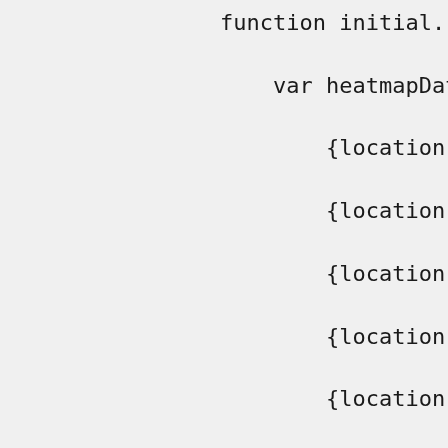function initial.
    var heatmapDat
        {location: n
        {location: n
        {location: n
        {location: n
        {location: n
        {location: n
        {location: n
        {location: n
    ];


    // Add some cu
    // http://gm